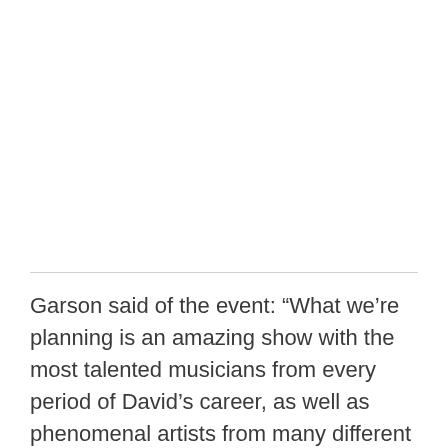Garson said of the event: “What we’re planning is an amazing show with the most talented musicians from every period of David’s career, as well as phenomenal artists from many different genres.